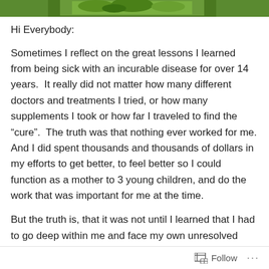[Figure (photo): Partial image strip at top of page showing green foliage/nature scene, cropped]
Hi Everybody:
Sometimes I reflect on the great lessons I learned from being sick with an incurable disease for over 14 years.  It really did not matter how many different doctors and treatments I tried, or how many supplements I took or how far I traveled to find the “cure”.  The truth was that nothing ever worked for me. And I did spent thousands and thousands of dollars in my efforts to get better, to feel better so I could function as a mother to 3 young children, and do the work that was important for me at the time.
But the truth is, that it was not until I learned that I had to go deep within me and face my own unresolved negative issues, my own limiting beliefs, my religious programming
Follow ...